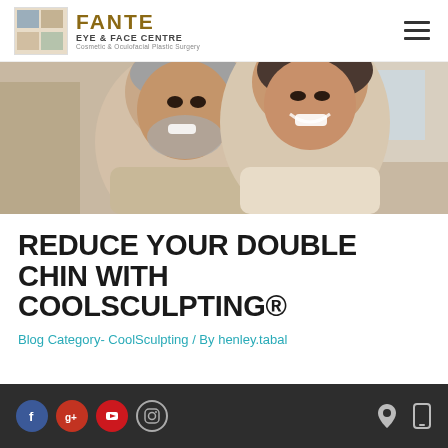Fante Eye & Face Centre — Cosmetic & Oculofacial Plastic Surgery
[Figure (photo): Happy couple smiling closely together, man with grey beard and woman leaning on his shoulder]
REDUCE YOUR DOUBLE CHIN WITH COOLSCULPTING®
Blog Category- CoolSculpting / By henley.tabal
Social media icons (Facebook, Google+, YouTube, Instagram) and location/mobile icons